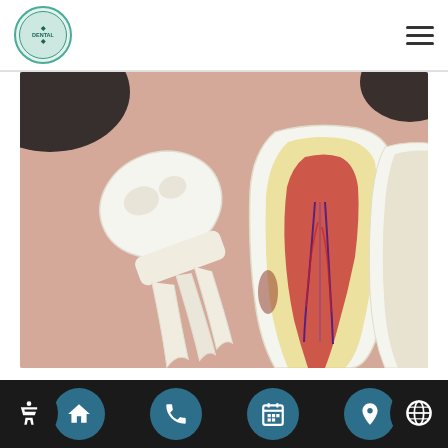[Figure (logo): Circular dental clinic logo with teal border]
[Figure (photo): 3D medical illustration of wisdom tooth impaction showing cross-section of molar with roots, nerve canals, and surrounding teeth on pink gum background]
How Long Is Recovery After Wisdom Tooth Extraction?
Wisdom tooth extraction is a procedure that is not typically enjoyable but is often necessary in order to
[Figure (infographic): Bottom navigation bar with four circular teal buttons: home icon, phone icon, calendar icon, location pin icon. Side accessibility and globe icons.]